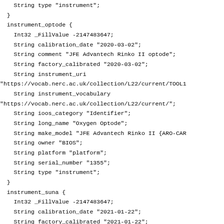String type "instrument";
  }
  instrument_optode {
    Int32 _FillValue -2147483647;
    String calibration_date "2020-03-02";
    String comment "JFE Advantech Rinko II optode";
    String factory_calibrated "2020-03-02";
    String instrument_uri
"https://vocab.nerc.ac.uk/collection/L22/current/TOOL1
    String instrument_vocabulary
"https://vocab.nerc.ac.uk/collection/L22/current/";
    String ioos_category "Identifier";
    String long_name "Oxygen Optode";
    String make_model "JFE Advantech Rinko II {ARO-CAR
    String owner "BIOS";
    String platform "platform";
    String serial_number "1355";
    String type "instrument";
  }
  instrument_suna {
    Int32 _FillValue -2147483647;
    String calibration_date "2021-01-22";
    String factory_calibrated "2021-01-22";
    String instrument_uri
"https://vocab.nerc.ac.uk/collection/L22/current/TOOL1
    String instrument_vocabulary